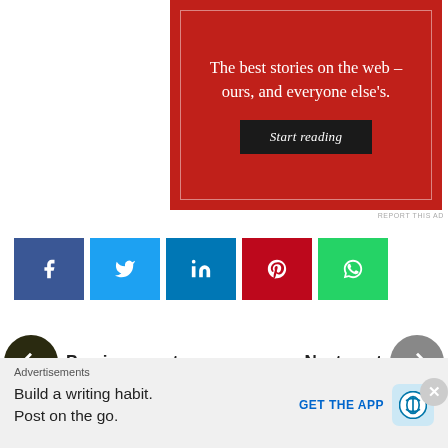[Figure (illustration): Red advertisement banner with serif white text reading 'The best stories on the web – ours, and everyone else's.' with a 'Start reading' button on a black pill/rectangle, inside a thin white border outline, on a dark red background.]
REPORT THIS AD
[Figure (infographic): Row of five social media share buttons: Facebook (dark blue), Twitter (light blue), LinkedIn (medium blue), Pinterest (dark red), WhatsApp (green), each showing the respective brand icon in white.]
Previous post
Next post
Advertisements
Build a writing habit. Post on the go.
GET THE APP